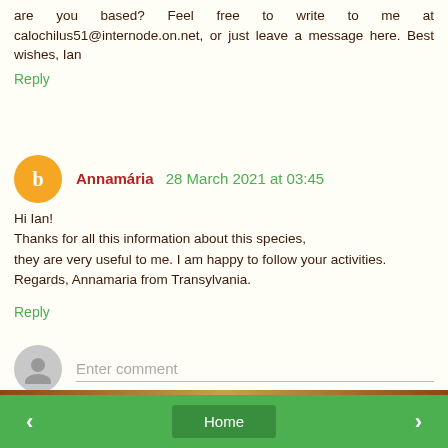are you based? Feel free to write to me at calochilus51@internode.on.net, or just leave a message here. Best wishes, Ian
Reply
Annamária 28 March 2021 at 03:45
Hi Ian!
Thanks for all this information about this species,
they are very useful to me. I am happy to follow your activities.
Regards, Annamaria from Transylvania.
Reply
Enter comment
< Home >